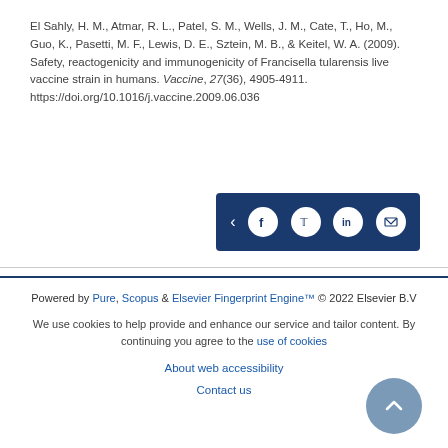El Sahly, H. M., Atmar, R. L., Patel, S. M., Wells, J. M., Cate, T., Ho, M., Guo, K., Pasetti, M. F., Lewis, D. E., Sztein, M. B., & Keitel, W. A. (2009). Safety, reactogenicity and immunogenicity of Francisella tularensis live vaccine strain in humans. Vaccine, 27(36), 4905-4911. https://doi.org/10.1016/j.vaccine.2009.06.036
[Figure (other): Social share bar with icons for share, Facebook, Twitter, LinkedIn, and email on a dark blue background]
Powered by Pure, Scopus & Elsevier Fingerprint Engine™ © 2022 Elsevier B.V
We use cookies to help provide and enhance our service and tailor content. By continuing you agree to the use of cookies
About web accessibility
Contact us